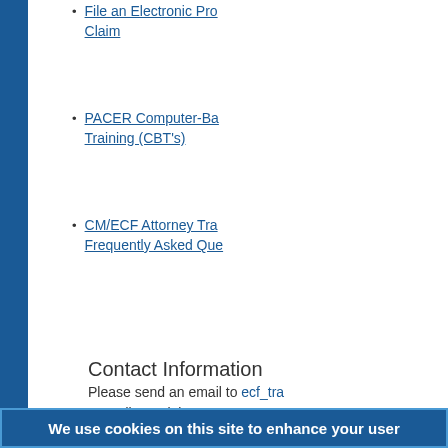File an Electronic Proof of Claim
PACER Computer-Based Training (CBT's)
CM/ECF Attorney Training Frequently Asked Questions
Contact Information
Please send an email to ecf_tra regarding training.
We use cookies on this site to enhance your user